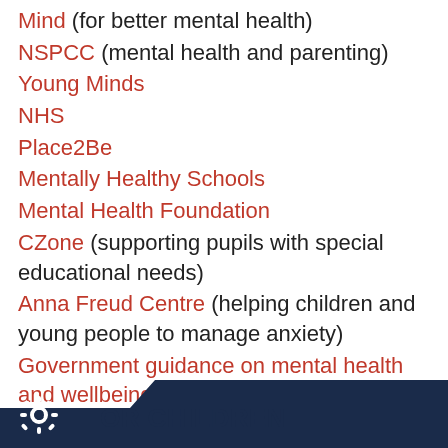Mind (for better mental health)
NSPCC (mental health and parenting)
Young Minds
NHS
Place2Be
Mentally Healthy Schools
Mental Health Foundation
CZone (supporting pupils with special educational needs)
Anna Freud Centre (helping children and young people to manage anxiety)
Government guidance on mental health and wellbeing
Government guidance on supporting young people's mental health and wellbeing
FOR CHILDREN